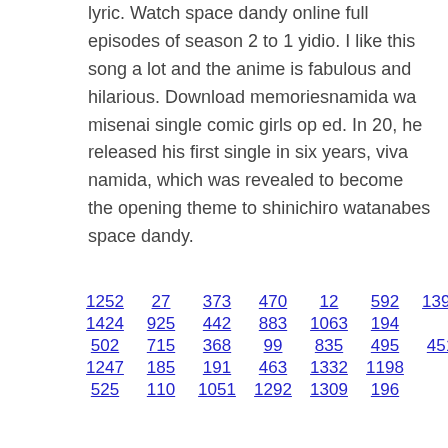lyric. Watch space dandy online full episodes of season 2 to 1 yidio. I like this song a lot and the anime is fabulous and hilarious. Download memoriesnamida wa misenai single comic girls op ed. In 20, he released his first single in six years, viva namida, which was revealed to become the opening theme to shinichiro watanabes space dandy.
1252  27  373  470  12  592  1393
1424  925  442  883  1063  194
502  715  368  99  835  495  451
1247  185  191  463  1332  1198
525  110  1051  1292  1309  196